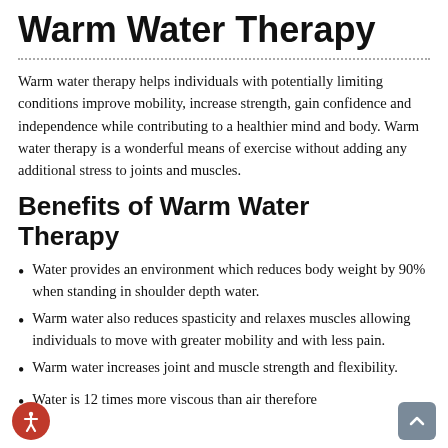Warm Water Therapy
Warm water therapy helps individuals with potentially limiting conditions improve mobility, increase strength, gain confidence and independence while contributing to a healthier mind and body. Warm water therapy is a wonderful means of exercise without adding any additional stress to joints and muscles.
Benefits of Warm Water Therapy
Water provides an environment which reduces body weight by 90% when standing in shoulder depth water.
Warm water also reduces spasticity and relaxes muscles allowing individuals to move with greater mobility and with less pain.
Warm water increases joint and muscle strength and flexibility.
Water is 12 times more viscous than air therefore